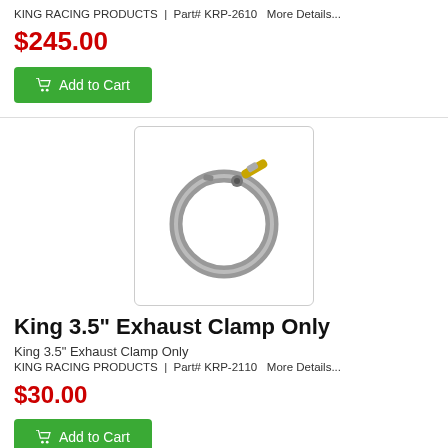KING RACING PRODUCTS | Part# KRP-2610  More Details...
$245.00
Add to Cart
[Figure (photo): A metal V-band exhaust clamp, circular shape, shown on white background with rounded corner border]
King 3.5" Exhaust Clamp Only
King 3.5" Exhaust Clamp Only
KING RACING PRODUCTS  |  Part# KRP-2110   More Details...
$30.00
Add to Cart